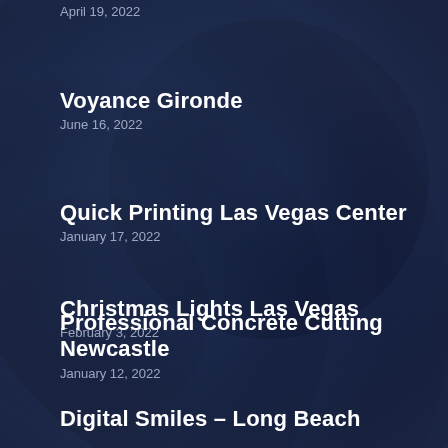April 19, 2022
Voyance Gironde
June 16, 2022
Quick Printing Las Vegas Center
January 17, 2022
Christmas Lights Las Vegas
February 3, 2022
Professional Concrete Cutting Newcastle
January 12, 2022
Digital Smiles – Long Beach